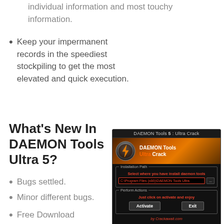individual information and most touchy information.
Keep your impermanent records in the speediest stockpiling to get the most elevated and quick execution.
What's New In DAEMON Tools Ultra 5?
Bugs settled.
Minor different bugs.
Free Download Guitar Pro 6 crack.
Check the refined free and paid elements.
[Figure (screenshot): DAEMON Tools Ultra Crack installer window showing installation path and activate/exit buttons on a dark background]